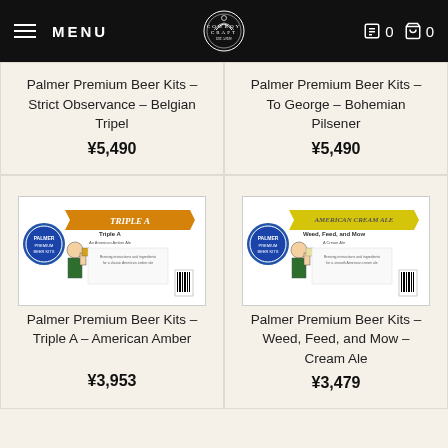MENU | COWBOY CRAFT | 0 | 0
Palmer Premium Beer Kits - Strict Observance - Belgian Tripel
¥5,490
Palmer Premium Beer Kits - To George - Bohemian Pilsener
¥5,490
[Figure (photo): Beer kit label for Triple A - American Amber, showing a man holding a beer with an orange banner]
Palmer Premium Beer Kits - Triple A - American Amber
¥3,953
[Figure (photo): Beer kit label for Weed, Feed, and Mow - Cream Ale, showing a man holding a beer with a yellow banner]
Palmer Premium Beer Kits - Weed, Feed, and Mow - Cream Ale
¥3,479